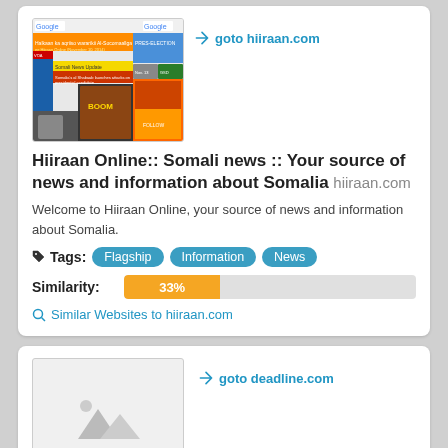[Figure (screenshot): Screenshot of Hiiraan Online website showing Somali news portal with Google logo and various news content]
goto hiiraan.com
Hiiraan Online:: Somali news :: Your source of news and information about Somalia hiiraan.com
Welcome to Hiiraan Online, your source of news and information about Somalia.
Tags: Flagship  Information  News
Similarity: 33%
Similar Websites to hiiraan.com
[Figure (screenshot): Placeholder screenshot for deadline.com showing grey image placeholder icon]
goto deadline.com